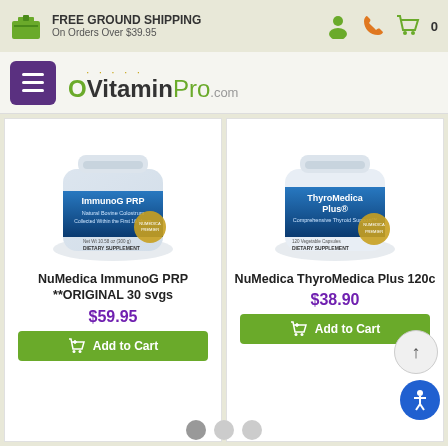FREE GROUND SHIPPING On Orders Over $39.95
[Figure (logo): OVitaminPro.com logo with hamburger menu]
[Figure (photo): NuMedica ImmunoG PRP supplement bottle]
[Figure (photo): NuMedica ThyroMedica Plus supplement bottle]
NuMedica ImmunoG PRP **ORIGINAL 30 svgs
$59.95
Add to Cart
NuMedica ThyroMedica Plus 120c
$38.90
Add to Cart